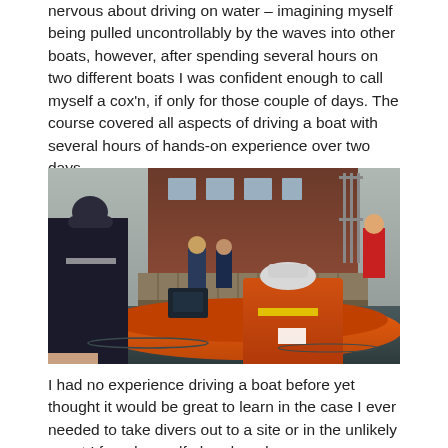nervous about driving on water – imagining myself being pulled uncontrollably by the waves into other boats, however, after spending several hours on two different boats I was confident enough to call myself a cox'n, if only for those couple of days. The course covered all aspects of driving a boat with several hours of hands-on experience over two days.
[Figure (photo): Photograph of people on an orange inflatable boat near a wooden dock, with a brick building in the background. Several people are wearing life jackets and cold-weather gear.]
I had no experience driving a boat before yet thought it would be great to learn in the case I ever needed to take divers out to a site or in the unlikely event I found myself abandoned on